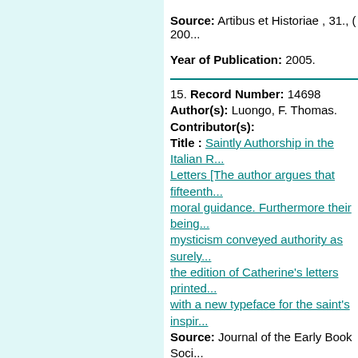Source: Artibus et Historiae , 31., ( 200... Year of Publication: 2005.
15. Record Number: 14698 Author(s): Luongo, F. Thomas. Contributor(s): Title : Saintly Authorship in the Italian R... Letters [The author argues that fifteenth... moral guidance. Furthermore their being... mysticism conveyed authority as surely... the edition of Catherine's letters printed... with a new typeface for the saint's inspir... Source: Journal of the Early Book Soci... 8., ( 2005): Pages 1 - 46. Year of Publication: 2005.
16. Record Number: 14124 Author(s): Legaré, Anne-Marie. Contributor(s): Title : La librairye de Madame: Two Pri... manuscripts belonging to Margaret of Yo... number of French religious texts in line ... granddaughter c Source: Women of Distinction: Margare... Eichberger . Brepols, 2005. Journal of... and Printing History , 8., ( 2005): Pages... Year of Publication: 2005.